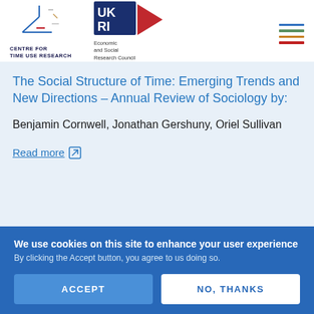[Figure (logo): Centre for Time Use Research logo with abstract line drawing and text 'CENTRE FOR TIME USE RESEARCH']
[Figure (logo): UKRI Economic and Social Research Council logo]
[Figure (illustration): Hamburger menu icon with four colored horizontal lines (blue, green/teal, orange, red)]
The Social Structure of Time: Emerging Trends and New Directions - Annual Review of Sociology by:
Benjamin Cornwell, Jonathan Gershuny, Oriel Sullivan
Read more
We use cookies on this site to enhance your user experience
By clicking the Accept button, you agree to us doing so.
ACCEPT
NO, THANKS